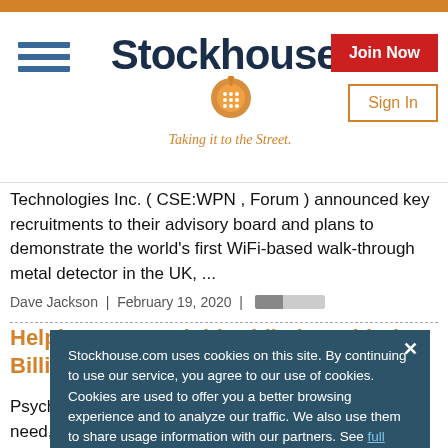[Figure (logo): Stockhouse logo with hamburger menu, Join Now and Sign In buttons, orange top bar]
Technologies Inc. ( CSE:WPN , Forum ) announced key recruitments to their advisory board and plans to demonstrate the world's first WiFi-based walk-through metal detector in the UK, ...
Dave Jackson  |  February 19, 2020  |
Helping Cure Opioid Addiction with the Billion-Dollar Ibogaine Market
Psychedelics are the real deal. They can help people in need, change the world, and make a lot of money, all at the same time. The se sc im On
Stockhouse.com uses cookies on this site. By continuing to use our service, you agree to our use of cookies. Cookies are used to offer you a better browsing experience and to analyze our traffic. We also use them to share usage information with our partners. See full details.
I Agree
A N